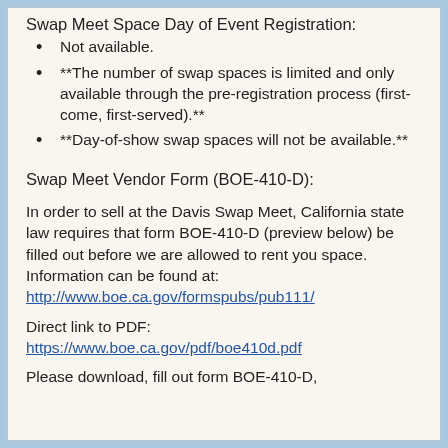Swap Meet Space Day of Event Registration:
Not available.
**The number of swap spaces is limited and only available through the pre-registration process (first-come, first-served).**
**Day-of-show swap spaces will not be available.**
Swap Meet Vendor Form (BOE-410-D):
In order to sell at the Davis Swap Meet, California state law requires that form BOE-410-D (preview below) be filled out before we are allowed to rent you space. Information can be found at: http://www.boe.ca.gov/formspubs/pub111/
Direct link to PDF: https://www.boe.ca.gov/pdf/boe410d.pdf
Please download, fill out form BOE-410-D,